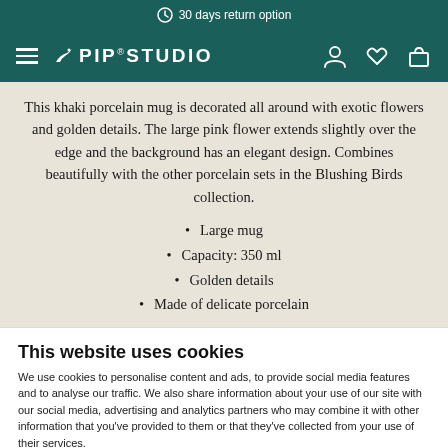30 days return option
[Figure (logo): Pip Studio logo with hamburger menu and navigation icons (person, heart, bag) on dark teal background]
This khaki porcelain mug is decorated all around with exotic flowers and golden details. The large pink flower extends slightly over the edge and the background has an elegant design. Combines beautifully with the other porcelain sets in the Blushing Birds collection.
Large mug
Capacity: 350 ml
Golden details
Made of delicate porcelain
This website uses cookies
We use cookies to personalise content and ads, to provide social media features and to analyse our traffic. We also share information about your use of our site with our social media, advertising and analytics partners who may combine it with other information that you've provided to them or that they've collected from your use of their services.
DENY | ALLOW ALL | Show details